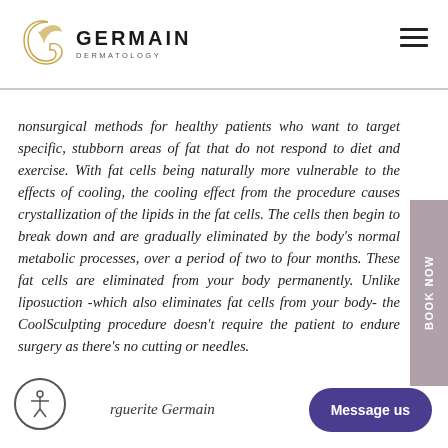[Figure (logo): Germain Dermatology logo with stylized G and leaf mark above bold GERMAIN text and DERMATOLOGY subtitle]
nonsurgical methods for healthy patients who want to target specific, stubborn areas of fat that do not respond to diet and exercise. With fat cells being naturally more vulnerable to the effects of cooling, the cooling effect from the procedure causes crystallization of the lipids in the fat cells. The cells then begin to break down and are gradually eliminated by the body's normal metabolic processes, over a period of two to four months. These fat cells are eliminated from your body permanently. Unlike liposuction -which also eliminates fat cells from your body- the CoolSculpting procedure doesn't require the patient to endure surgery as there's no cutting or needles.
rguerite Germain